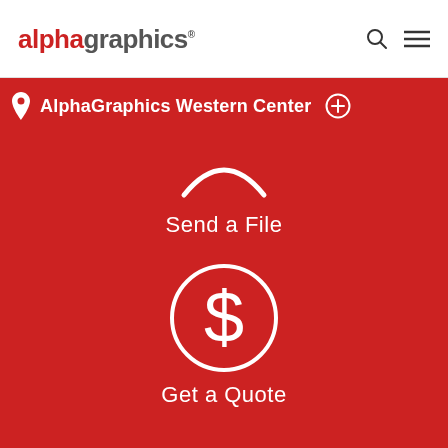alphagraphics
AlphaGraphics Western Center
[Figure (illustration): White curved smile/arc icon on red background representing a file upload or send icon]
Send a File
[Figure (illustration): White dollar sign inside a white circle outline on red background representing Get a Quote]
Get a Quote